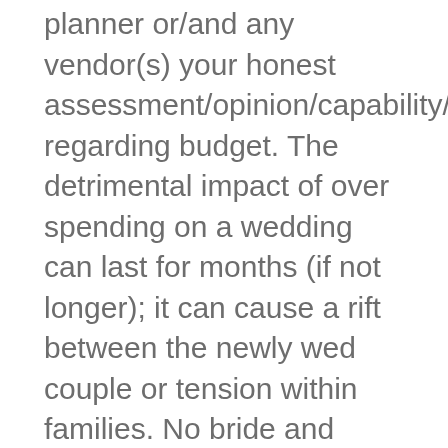planner or/and any vendor(s) your honest assessment/opinion/capability/willingness regarding budget. The detrimental impact of over spending on a wedding can last for months (if not longer); it can cause a rift between the newly wed couple or tension within families. No bride and groom want to return from their honeymoon with a stack of bills; a fiscally mis-managed wedding is not a good start. Comprise and frugality are not four letter words.